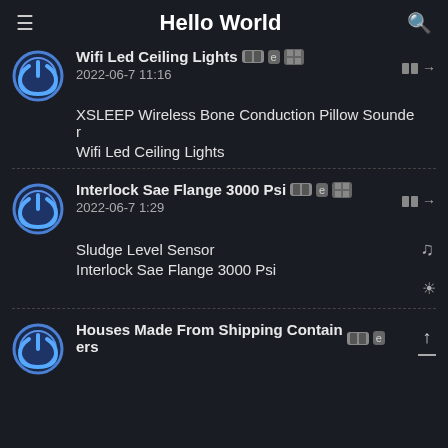Hello World
Wifi Led Ceiling Lights
2022-06-7 11:16
XSLEEP Wireless Bone Conduction Pillow Sounder
Wifi Led Ceiling Lights
Interlock Sae Flange 3000 Psi
2022-06-7 1:29
Sludge Level Sensor
Interlock Sae Flange 3000 Psi
Houses Made From Shipping Containers